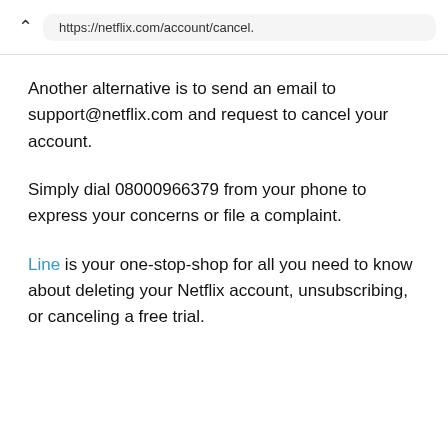https://netflix.com/account/cancel.
Another alternative is to send an email to support@netflix.com and request to cancel your account.
Simply dial 08000966379 from your phone to express your concerns or file a complaint.
Line is your one-stop-shop for all you need to know about deleting your Netflix account, unsubscribing, or canceling a free trial.